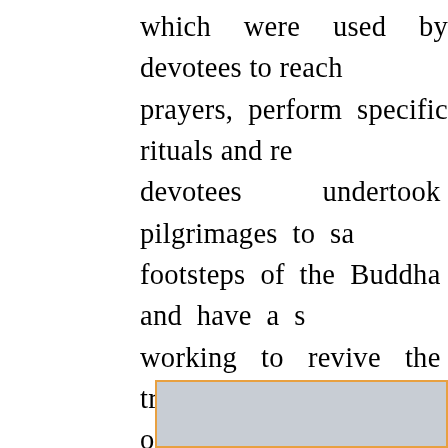which were used by devotees to reach prayers, perform specific rituals and re devotees undertook pilgrimages to sa footsteps of the Buddha and have a s working to revive the tradition of pilg organising Dhamma walks and chantings regard, in partnership with the Light of B International (LBDFI), International Bu organised the 4th Dhamma Walk on Jeṭhian to Rājgir. The path from Jeṭhian annual Dhamma Walk was the same rout first visit to Rājgir following his enlighte
[Figure (photo): Partial image visible at bottom of page with orange border frame, grey/blue toned photograph]